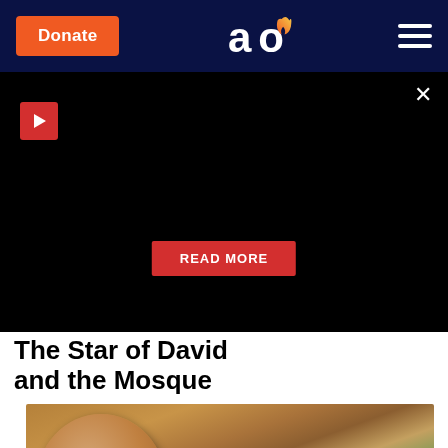[Figure (screenshot): Website navigation bar with dark navy background containing an orange 'Donate' button on the left, an 'ao' logo with flame icon in the center, and a hamburger menu icon on the right]
[Figure (screenshot): Black video/ad banner with a red play button in the upper left, an X close button in the upper right, and a red 'READ MORE' button in the center-bottom area]
The Star of David and the Mosque
[Figure (photo): Close-up photo of a young child's face and upper body, slightly blurred, with green grass and a white object visible in the background]